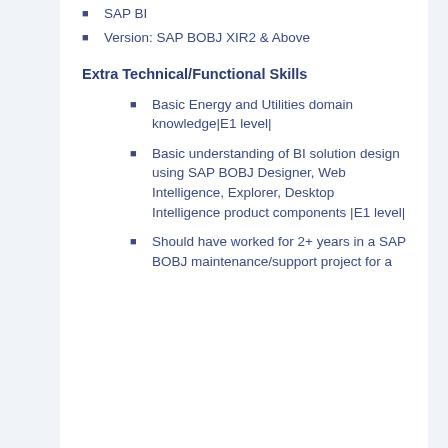SAP BI
Version: SAP BOBJ XIR2 & Above
Extra Technical/Functional Skills
Basic Energy and Utilities domain knowledge|E1 level|
Basic understanding of BI solution design using SAP BOBJ Designer, Web Intelligence, Explorer, Desktop Intelligence product components |E1 level|
Should have worked for 2+ years in a SAP BOBJ maintenance/support project for a